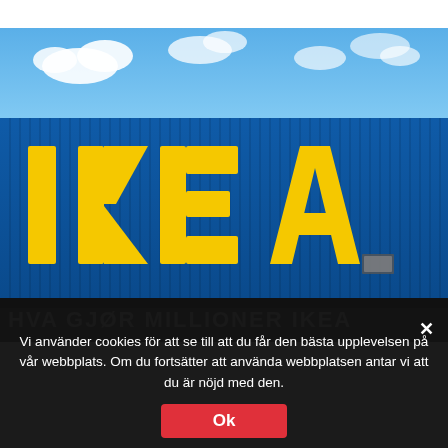[Figure (photo): IKEA store exterior with large yellow IKEA letters on a blue corrugated metal wall, blue sky with clouds in the background]
Vi använder cookies för att se till att du får den bästa upplevelsen på vår webbplats. Om du fortsätter att använda webbplatsen antar vi att du är nöjd med den.
Ok